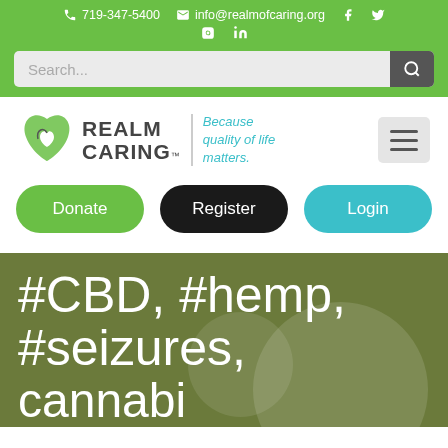719-347-5400  info@realmofcaring.org
[Figure (screenshot): Search bar with magnifying glass icon on green background]
[Figure (logo): Realm of Caring logo with heart/leaf icon, name, tagline 'Because quality of life matters.' and hamburger menu button]
Donate  Register  Login
#CBD, #hemp, #seizures, cannabis